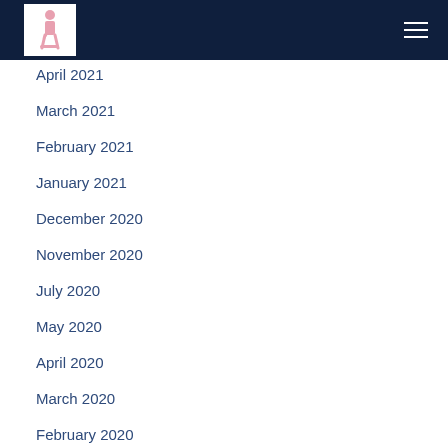[Logo and navigation header]
April 2021
March 2021
February 2021
January 2021
December 2020
November 2020
July 2020
May 2020
April 2020
March 2020
February 2020
January 2020
December 2019
November 2019